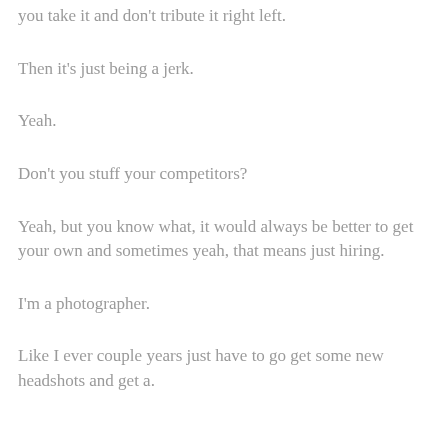you take it and don't tribute it right left.
Then it's just being a jerk.
Yeah.
Don't you stuff your competitors?
Yeah, but you know what, it would always be better to get your own and sometimes yeah, that means just hiring.
I'm a photographer.
Like I ever couple years just have to go get some new headshots and get a.